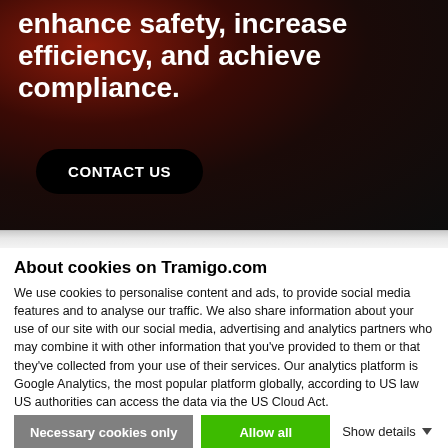enhance safety, increase efficiency, and achieve compliance.
CONTACT US
About cookies on Tramigo.com
We use cookies to personalise content and ads, to provide social media features and to analyse our traffic. We also share information about your use of our site with our social media, advertising and analytics partners who may combine it with other information that you've provided to them or that they've collected from your use of their services. Our analytics platform is Google Analytics, the most popular platform globally, according to US law US authorities can access the data via the US Cloud Act.
Necessary cookies only
Allow all
Show details